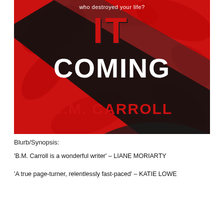[Figure (illustration): Book cover for 'It Coming' by B.M. Carroll. Red background with swirling dark rose/floral shapes. Large black ribbon/stripe diagonally across the cover. Text 'who destroyed your life?' at top in white, 'IT' in large red letters with black shadow, 'COMING' in large white letters, 'B.M. CARROLL' in red letters on lower portion.]
Blurb/Synopsis:
'B.M. Carroll is a wonderful writer' – LIANE MORIARTY
'A true page-turner, relentlessly fast-paced' – KATIE LOWE